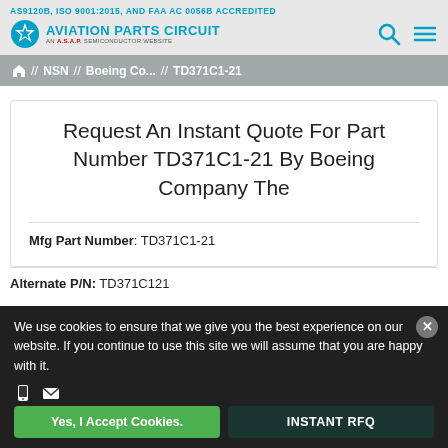AS9120B, ISO 9001:2015, AND FAA AC 0056B ACCREDITED
AVIATION PARTS CIRCUIT – AN A.S.A.P. SEMICONDUCTOR WEBSITE
// NSN // Boeing Co... // TD371C1-21
Request An Instant Quote For Part Number TD371C1-21 By Boeing Company The
Mfg Part Number: TD371C1-21
Alternate P/N: TD371C121
We use cookies to ensure that we give you the best experience on our website. If you continue to use this site we will assume that you are happy with it.